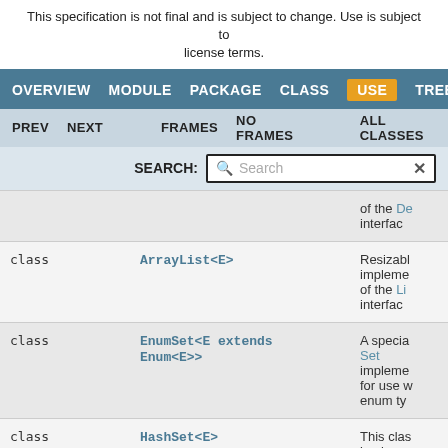This specification is not final and is subject to change. Use is subject to license terms.
OVERVIEW  MODULE  PACKAGE  CLASS  USE  TREE
PREV  NEXT  FRAMES  NO FRAMES  ALL CLASSES
SEARCH:  [Search box with X]
|  | Class | Description |
| --- | --- | --- |
|  |  | of the De interface |
| class | ArrayList<E> | Resizable-impleme of the Li interface |
| class | EnumSet<E extends Enum<E>> | A special Set impleme for use w enum ty... |
| class | HashSet<E> | This clas impleme... |